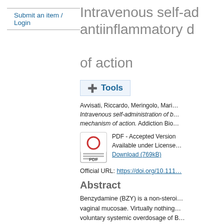Submit an item / Login
Intravenous self-administration of antiinflammatory drug... of action
+ Tools
Avvisati, Riccardo, Meringolo, Maria... Intravenous self-administration of b... mechanism of action. Addiction Bio...
PDF - Accepted Version Available under License Download (769kB)
Official URL: https://doi.org/10.1111...
Abstract
Benzydamine (BZY) is a non-steroidal antiinflammatory drug used topically on oral and vaginal mucosae. Virtually nothing is known about the consequences of voluntary systemic overdosage of BZY. In the present study, we investigated the reinforcing properties...